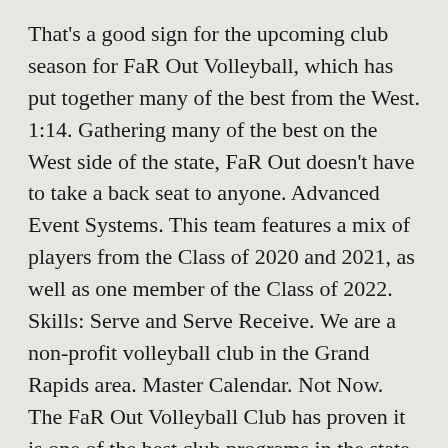That's a good sign for the upcoming club season for FaR Out Volleyball, which has put together many of the best from the West. 1:14. Gathering many of the best on the West side of the state, FaR Out doesn't have to take a back seat to anyone. Advanced Event Systems. This team features a mix of players from the Class of 2020 and 2021, as well as one member of the Class of 2022. Skills: Serve and Serve Receive. We are a non-profit volleyball club in the Grand Rapids area. Master Calendar. Not Now. The FaR Out Volleyball Club has proven it is one of the best club programs in the state. On the outside, Rachel Steele, Sarah Dunn, Taylor Stephens, Payton Rice and